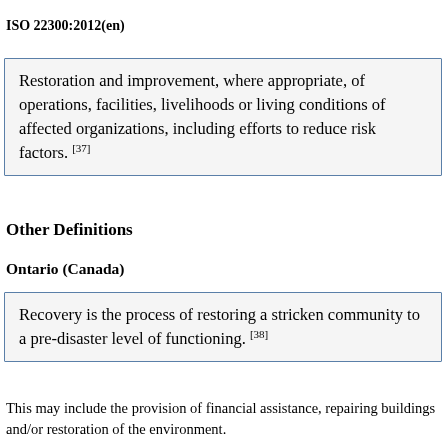ISO 22300:2012(en)
Restoration and improvement, where appropriate, of operations, facilities, livelihoods or living conditions of affected organizations, including efforts to reduce risk factors. [37]
Other Definitions
Ontario (Canada)
Recovery is the process of restoring a stricken community to a pre-disaster level of functioning. [38]
This may include the provision of financial assistance, repairing buildings and/or restoration of the environment.